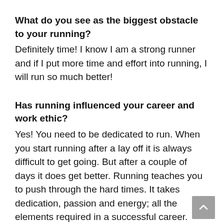What do you see as the biggest obstacle to your running?
Definitely time! I know I am a strong runner and if I put more time and effort into running, I will run so much better!
Has running influenced your career and work ethic?
Yes! You need to be dedicated to run. When you start running after a lay off it is always difficult to get going. But after a couple of days it does get better. Running teaches you to push through the hard times. It takes dedication, passion and energy; all the elements required in a successful career.